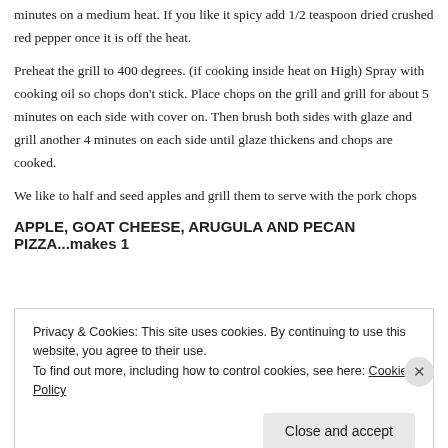minutes on a medium heat.  If you like it spicy add 1/2 teaspoon dried crushed red pepper once it is off the heat.
Preheat the grill to 400 degrees. (if cooking inside heat on High) Spray with cooking oil so chops don't stick.  Place chops on the grill and grill for about 5 minutes on each side with cover on.  Then brush both sides with glaze and grill another 4 minutes on each side until glaze thickens and chops are cooked.
We like to half and seed apples and grill them to serve with the pork chops
APPLE, GOAT CHEESE, ARUGULA AND PECAN PIZZA...makes 1
Privacy & Cookies: This site uses cookies. By continuing to use this website, you agree to their use.
To find out more, including how to control cookies, see here: Cookie Policy
Close and accept